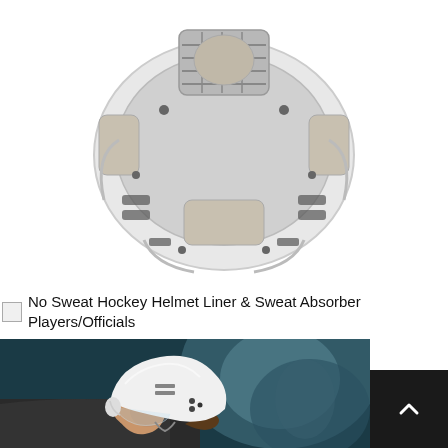[Figure (photo): Close-up bottom/front view of a white hockey helmet interior showing foam padding, ventilation slots, and structural framework, on white background]
No Sweat Hockey Helmet Liner & Sweat Absorber Players/Officials
[Figure (photo): Female hockey player wearing a white hockey helmet with visor, shot from side profile in dramatic blue-grey arena lighting]
[Figure (other): Dark scroll-to-top button with upward chevron arrow]